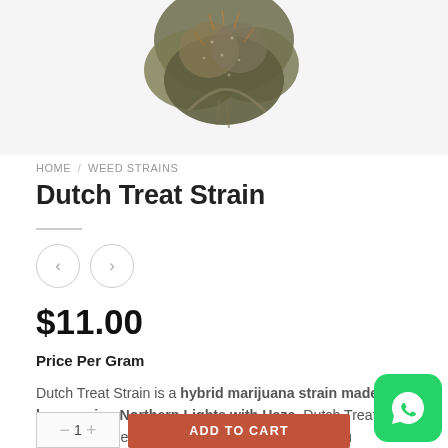[Figure (photo): Photo of a cannabis bud (Dutch Treat Strain) against a white background, partially cropped at top]
HOME / WEED STRAINS
Dutch Treat Strain
$11.00
Price Per Gram
Dutch Treat Strain is a hybrid marijuana strain made by crossing Northern Lights with Haze. Dutch Treat Strain produces cerebral effects that will leave you feeling up and euphoric while reducing stress and relaxing the mi...
[Figure (logo): WhatsApp green button icon in bottom right corner]